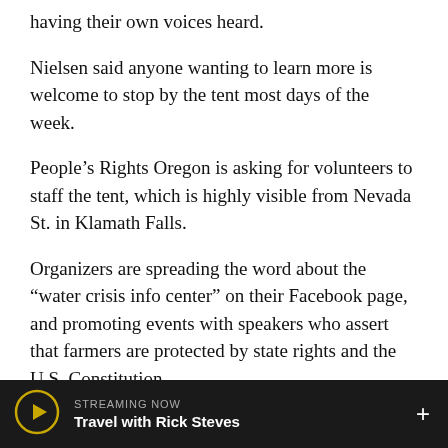having their own voices heard.
Nielsen said anyone wanting to learn more is welcome to stop by the tent most days of the week.
People’s Rights Oregon is asking for volunteers to staff the tent, which is highly visible from Nevada St. in Klamath Falls.
Organizers are spreading the word about the “water crisis info center” on their Facebook page, and promoting events with speakers who assert that farmers are protected by state rights and the U.S. Constitution.
Another gathering is planned at the tent on Thursday, May 27.
STREAMING NOW
Travel with Rick Steves